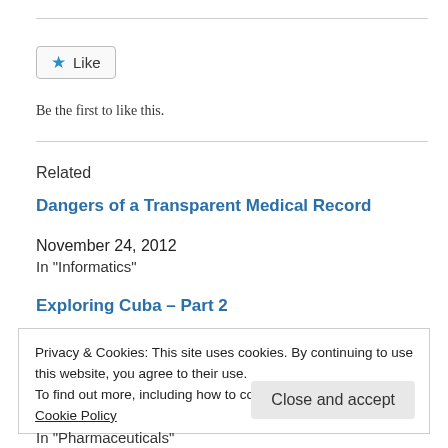[Figure (other): Like button widget with blue star icon and 'Like' text inside a bordered rounded rectangle]
Be the first to like this.
Related
Dangers of a Transparent Medical Record
November 24, 2012
In "Informatics"
Exploring Cuba – Part 2
Privacy & Cookies: This site uses cookies. By continuing to use this website, you agree to their use.
To find out more, including how to control cookies, see here:
Cookie Policy
Close and accept
In "Pharmaceuticals"